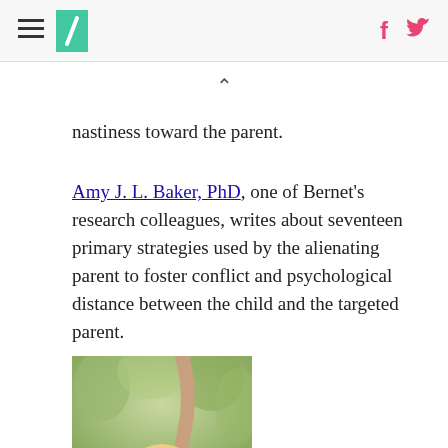HuffPost header with menu, logo, and social icons
nastiness toward the parent.
Amy J. L. Baker, PhD, one of Bernet's research colleagues, writes about seventeen primary strategies used by the alienating parent to foster conflict and psychological distance between the child and the targeted parent.
[Figure (photo): A young blonde child holding hands with an adult outdoors in a green park setting.]